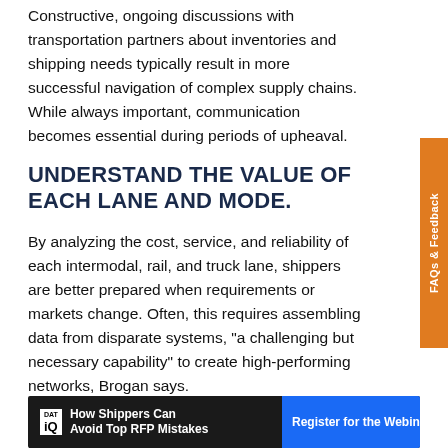Constructive, ongoing discussions with transportation partners about inventories and shipping needs typically result in more successful navigation of complex supply chains. While always important, communication becomes essential during periods of upheaval.
UNDERSTAND THE VALUE OF EACH LANE AND MODE.
By analyzing the cost, service, and reliability of each intermodal, rail, and truck lane, shippers are better prepared when requirements or markets change. Often, this requires assembling data from disparate systems, "a challenging but necessary capability" to create high-performing networks, Brogan says.
It may also require piloting new modes and lanes.
[Figure (infographic): DAT iQ banner ad: 'How Shippers Can Avoid Top RFP Mistakes' with blue button 'Register for the Webinar 9/28 >']